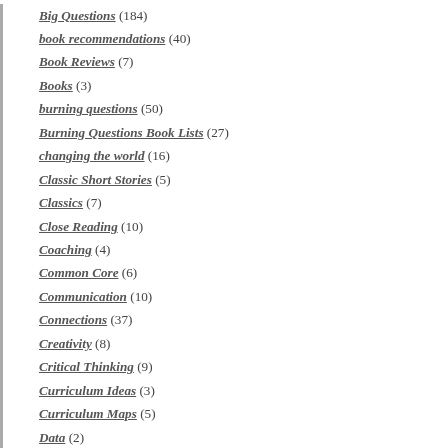Big Questions (184)
book recommendations (40)
Book Reviews (7)
Books (3)
burning questions (50)
Burning Questions Book Lists (27)
changing the world (16)
Classic Short Stories (5)
Classics (7)
Close Reading (10)
Coaching (4)
Common Core (6)
Communication (10)
Connections (37)
Creativity (8)
Critical Thinking (9)
Curriculum Ideas (3)
Curriculum Maps (5)
Data (2)
Design Thinking (2)